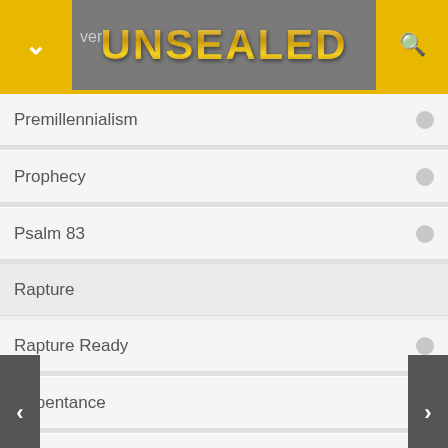UNSEALED
Premillennialism
Prophecy
Psalm 83
Rapture
Rapture Ready
Repentance
Resurrection
Revelation 12
Revelation 12 Sign
Revival